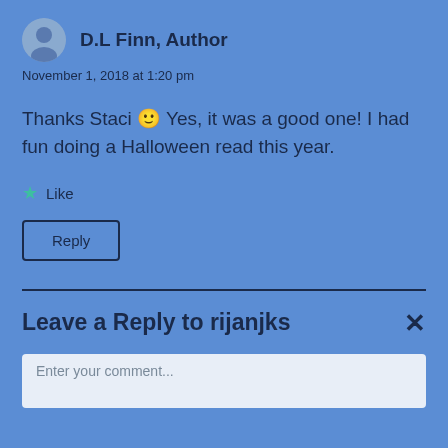D.L Finn, Author
November 1, 2018 at 1:20 pm
Thanks Staci 🙂 Yes, it was a good one! I had fun doing a Halloween read this year.
Like
Reply
Leave a Reply to rijanjks